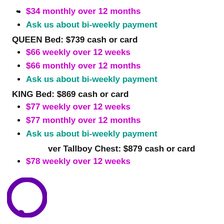$34 monthly over 12 months
Ask us about bi-weekly payment
QUEEN Bed: $739 cash or card
$66 weekly over 12 weeks
$66 monthly over 12 months
Ask us about bi-weekly payment
KING Bed: $869 cash or card
$77 weekly over 12 weeks
$77 monthly over 12 months
Ask us about bi-weekly payment
ver Tallboy Chest: $879 cash or card
$78 weekly over 12 weeks